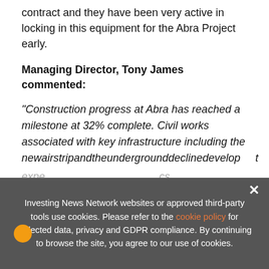contract and they have been very active in locking in this equipment for the Abra Project early.
Managing Director, Tony James commented:
"Construction progress at Abra has reached a milestone at 32% complete. Civil works associated with key infrastructure including the newairstripandtheundergrounddecilinedevelopment expected ... be completed ... and development has reached 291m from the portal
[Figure (other): Advertisement banner: EXCLUSIVE 2022 RESOURCE OUTLOOK REPORT. TRENDS. FORECASTS. TOP STOCKS. with orange arrow button and orange divider, partially obscuring the article text.]
Investing News Network websites or approved third-party tools use cookies. Please refer to the cookie policy for collected data, privacy and GDPR compliance. By continuing to browse the site, you agree to our use of cookies.